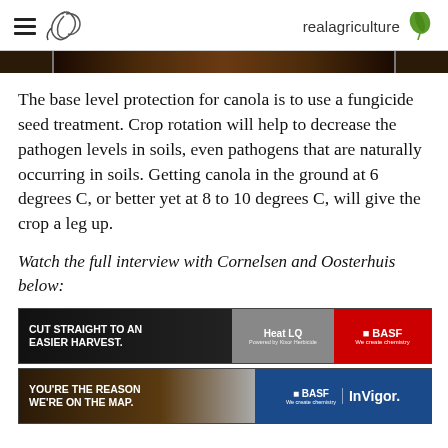realagriculture
[Figure (photo): Dark brown soil or crop image banner strip]
The base level protection for canola is to use a fungicide seed treatment. Crop rotation will help to decrease the pathogen levels in soils, even pathogens that are naturally occurring in soils. Getting canola in the ground at 6 degrees C, or better yet at 8 to 10 degrees C, will give the crop a leg up.
Watch the full interview with Cornelsen and Oosterhuis below:
[Figure (photo): BASF Heat LQ advertisement banner: CUT STRAIGHT TO AN EASIER HARVEST. Heat LQ Powered by Kixor Herbicide. BASF We create chemistry.]
[Figure (photo): BASF InVigor advertisement banner: YOU'RE THE REASON WE'RE ON THE MAP. BASF We create chemistry. InVigor.]